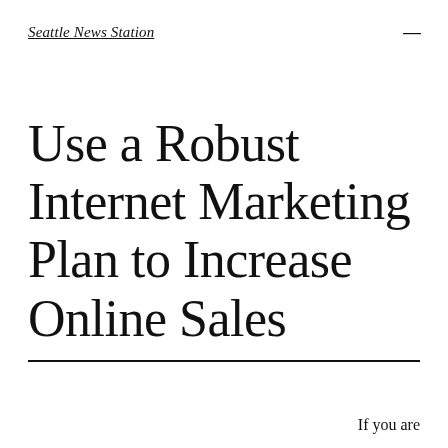Seattle News Station
Use a Robust Internet Marketing Plan to Increase Online Sales
If you are